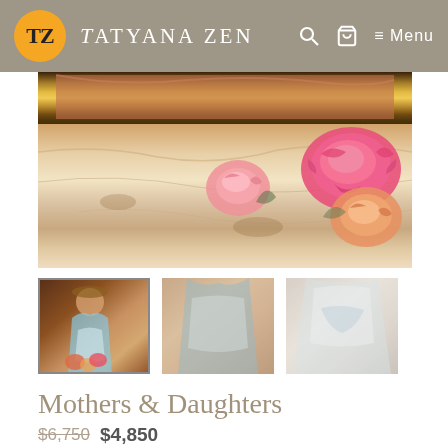Tatyana Zen — Menu
[Figure (photo): Close-up of a gilded picture frame with pink and red roses on a marble surface]
[Figure (photo): Thumbnail 1: Full painting of a woman in colorful dress holding flowers]
[Figure (photo): Thumbnail 2: Close-up detail of the painting showing the woman's midsection]
[Figure (photo): Thumbnail 3: Close-up detail of the painting showing light fabric/dress]
Mothers & Daughters
$6,750 $4,850
24 x 30 " Mothers & Daughters Framed Oil Painting by Tatyana